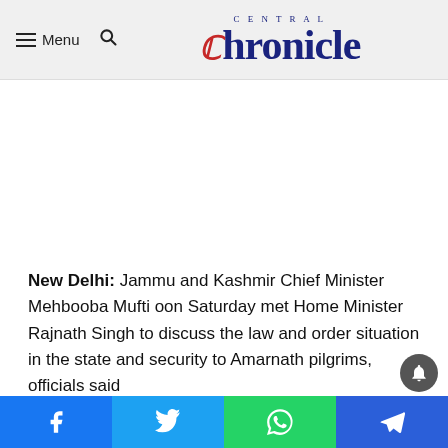Menu  [search]  CENTRAL Chronicle
New Delhi: Jammu and Kashmir Chief Minister Mehbooba Mufti oon Saturday met Home Minister Rajnath Singh to discuss the law and order situation in the state and security to Amarnath pilgrims, officials said
During the meeting that lasted about half-an-hour, the chief